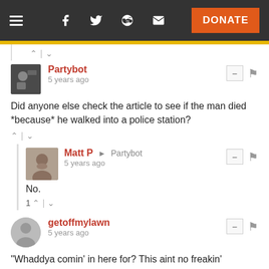[Figure (screenshot): Website navigation bar with hamburger menu, social icons (Facebook, Twitter, Reddit, email), and orange DONATE button]
Did anyone else check the article to see if the man died *because* he walked into a police station?
Partybot · 5 years ago
Matt P → Partybot · 5 years ago
No.
getoffmylawn · 5 years ago
"Whaddya comin' in here for? This aint no freakin' hospital"